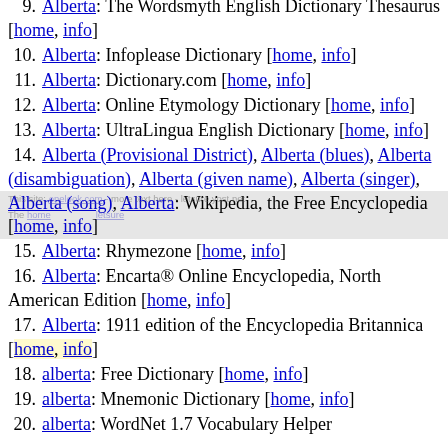9. Alberta: The Wordsmyth English Dictionary Thesaurus [home, info]
10. Alberta: Infoplease Dictionary [home, info]
11. Alberta: Dictionary.com [home, info]
12. Alberta: Online Etymology Dictionary [home, info]
13. Alberta: UltraLingua English Dictionary [home, info]
14. Alberta (Provisional District), Alberta (blues), Alberta (disambiguation), Alberta (given name), Alberta (singer), Alberta (song), Alberta: Wikipedia, the Free Encyclopedia [home, info]
15. Alberta: Rhymezone [home, info]
16. Alberta: Encarta® Online Encyclopedia, North American Edition [home, info]
17. Alberta: 1911 edition of the Encyclopedia Britannica [home, info]
18. alberta: Free Dictionary [home, info]
19. alberta: Mnemonic Dictionary [home, info]
20. alberta: WordNet 1.7 Vocabulary Helper